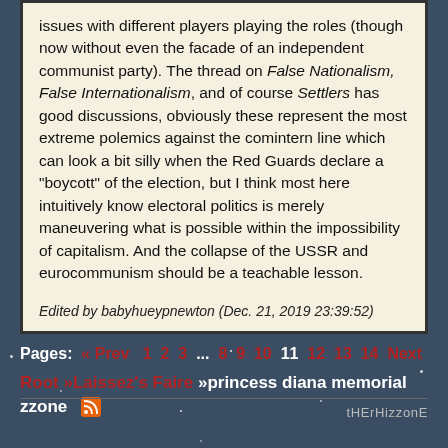issues with different players playing the roles (though now without even the facade of an independent communist party). The thread on False Nationalism, False Internationalism, and of course Settlers has good discussions, obviously these represent the most extreme polemics against the comintern line which can look a bit silly when the Red Guards declare a "boycott" of the election, but I think most here intuitively know electoral politics is merely maneuvering what is possible within the impossibility of capitalism. And the collapse of the USSR and eurocommunism should be a teachable lesson.
Edited by babyhueypnewton (Dec. 21, 2019 23:39:52)
Pages: « Prev 1 2 3 ... 8 9 10 11 12 13 14 Next
Root »Laissez's Faire »princess diana memorial zzone
tHErHizzonE